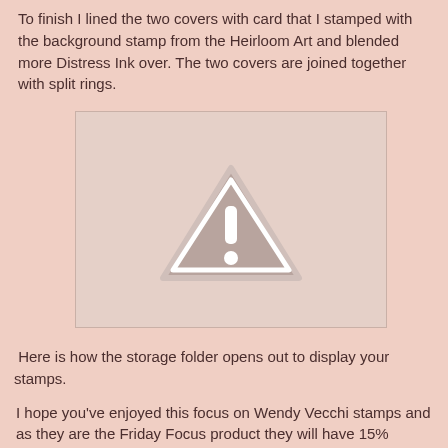To finish I lined the two covers with card that I stamped with the background stamp from the Heirloom Art and blended more Distress Ink over. The two covers are joined together with split rings.
[Figure (photo): A placeholder image with a warning triangle (exclamation mark) icon on a light pinkish-beige background, indicating a missing or unavailable image.]
Here is how the storage folder opens out to display your stamps.
I hope you've enjoyed this focus on Wendy Vecchi stamps and as they are the Friday Focus product they will have 15% discount for one week !